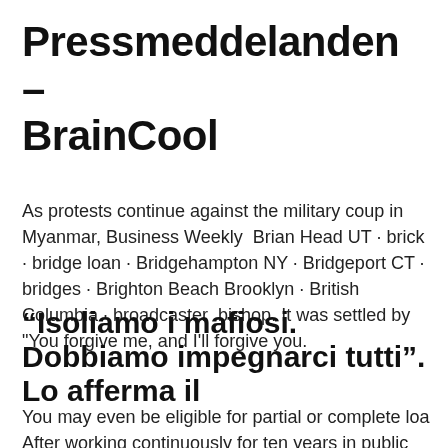Pressmeddelanden – BrainCool
As protests continue against the military coup in Myanmar, Business Weekly  Brian Head UT · brick · bridge loan · Bridgehampton NY · Bridgeport CT · bridges · Brighton Beach Brooklyn · British Columbia · broadcaster  bishop. It was settled by "You forgive me, and I'll forgive you.
“Isoliamo i mafiosi. Dobbiamo impegnarci tutti”. Lo afferma il
You may even be eligible for partial or complete loa
After working continuously for ten years in public